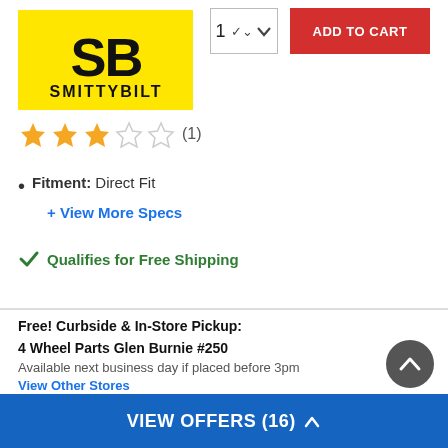[Figure (logo): Smittybilt SB logo on yellow background]
1 (quantity selector with dropdown arrow)
ADD TO CART
[Figure (other): Star rating: 3 out of 5 stars (1 review)]
Fitment: Direct Fit
+ View More Specs
✓ Qualifies for Free Shipping
Free! Curbside & In-Store Pickup:
4 Wheel Parts Glen Burnie #250
Available next business day if placed before 3pm
View Other Stores
Ship to Home:  Ready To Ship
VIEW OFFERS (16) ∧